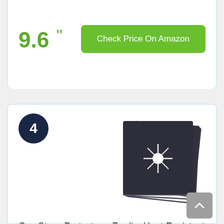9.6
Check Price On Amazon
4
[Figure (photo): Stack of dark/black square gas stove burner cover liners with a starburst/hole pattern, fanned out to show multiple pieces]
Gas Stove Protector – Zerdie, Heat-Resistant Stove Burner Covers and Range Liners, Reusable Non-Stick Stove…